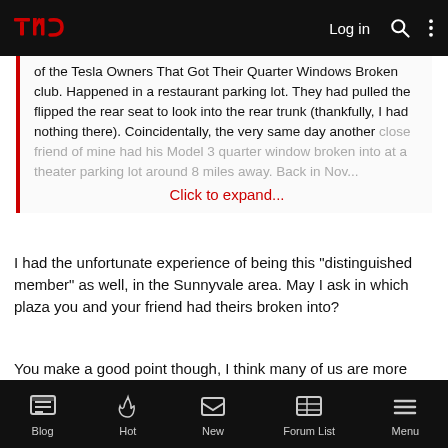TMC Logo | Log in | Search | More
of the Tesla Owners That Got Their Quarter Windows Broken club. Happened in a restaurant parking lot. They had pulled the flipped the rear seat to look into the rear trunk (thankfully, I had nothing there). Coincidentally, the very same day another close friend of mine had his Model 3 quarter window broken into at a theater parking lot around 8 miles away. Back in Nov... Click to expand...
I had the unfortunate experience of being this "distinguished member" as well, in the Sunnyvale area. May I ask in which plaza you and your friend had theirs broken into?
You make a good point though, I think many of us are more than well aware of the epidemic, but perhaps more is needed to contact Tesla directly so that they can take this situation seriously.
Blog | Hot | New | Forum List | Menu